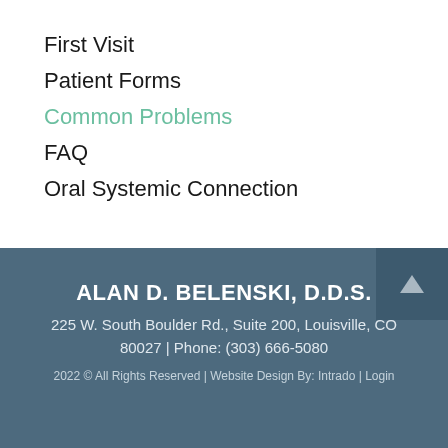First Visit
Patient Forms
Common Problems
FAQ
Oral Systemic Connection
ALAN D. BELENSKI, D.D.S.
225 W. South Boulder Rd., Suite 200, Louisville, CO 80027 | Phone: (303) 666-5080
2022 © All Rights Reserved | Website Design By: Intrado | Login